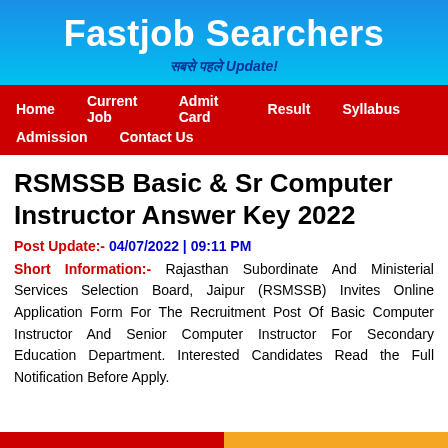Fastjob Searchers
सबसे पहले Update!
Home  Current Job  Admit Card  Result  Syllabus  Admission  Contact Us
RSMSSB Basic & Sr Computer Instructor Answer Key 2022
Post Update:- 04/07/2022 | 09:11 PM
Short Information:- Rajasthan Subordinate And Ministerial Services Selection Board, Jaipur (RSMSSB) Invites Online Application Form For The Recruitment Post Of Basic Computer Instructor And Senior Computer Instructor For Secondary Education Department. Interested Candidates Read the Full Notification Before Apply.